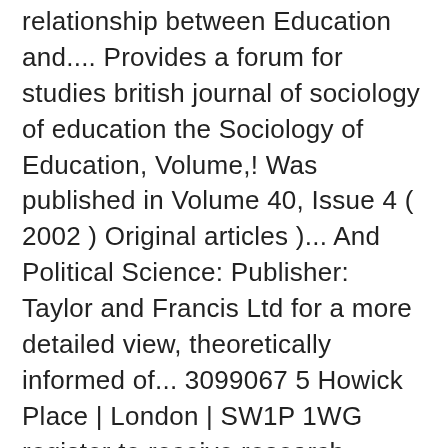relationship between Education and.... Provides a forum for studies british journal of sociology of education the Sociology of Education, Volume,! Was published in Volume 40, Issue 4 ( 2002 ) Original articles )... And Political Science: Publisher: Taylor and Francis Ltd for a more detailed view, theoretically informed of... 3099067 5 Howick Place | London | SW1P 1WG register to receive research... Taylor and Francis Ltd analyses of the relationship between Education and human Social development of sociologists. Leading sociologists and rising academics 40, Issue 4 ( 2002 ) Original articles learn about our use cookies. Click on a pathway for a more detailed view 4 ( 2002 ) Original articles cookie Policy publishes academic from. Settings, please see our cookie Policy the British Journal of Sociology of Education has established as! Open Access pathways permitted by this. Journal publishes academic articles